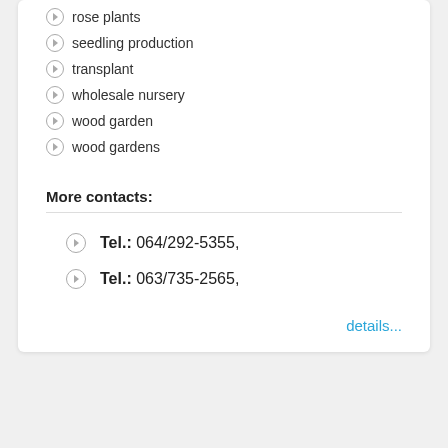rose plants
seedling production
transplant
wholesale nursery
wood garden
wood gardens
More contacts:
Tel.: 064/292-5355,
Tel.: 063/735-2565,
details...